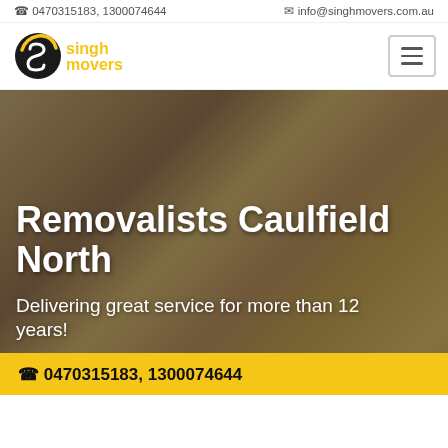0470315183, 1300074644    info@singhmovers.com.au
[Figure (logo): Singh Movers logo with stylized S icon in yellow/black and text 'singh movers' in yellow]
Removalists Caulfield North
Delivering great service for more than 12 years!
0470315183, 1300074644